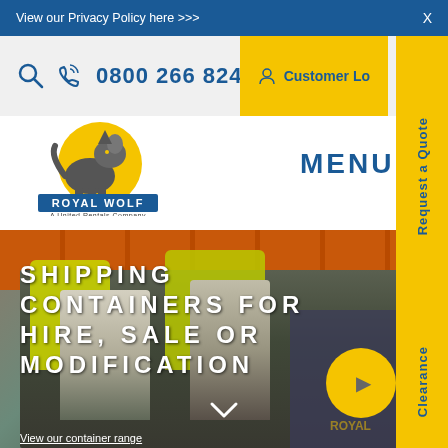View our Privacy Policy here >>> X
0800 266 824
Customer Lo
[Figure (logo): Royal Wolf logo - wolf howling at yellow moon, text ROYAL WOLF, A United Rentals Company]
MENU
Request a Quote
[Figure (photo): Two people in yellow high-visibility vests standing in front of shipping containers, smiling and talking]
SHIPPING CONTAINERS FOR HIRE, SALE OR MODIFICATION
Clearance
View our container range